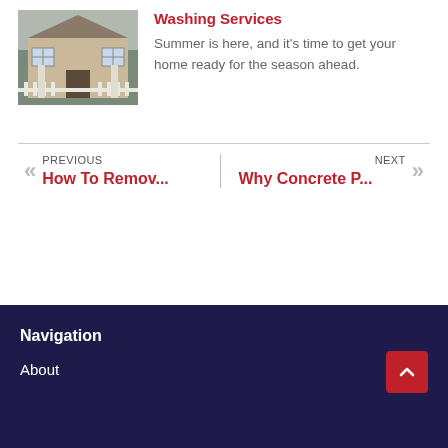[Figure (photo): Exterior photo of a house with white fence/railings and columns]
Washing Services
Summer is here, and it's time to get your home ready for the season ahead.
PREVIOUS
«
How To Remov...

NEXT
»
Why Concrete P...
Navigation
About